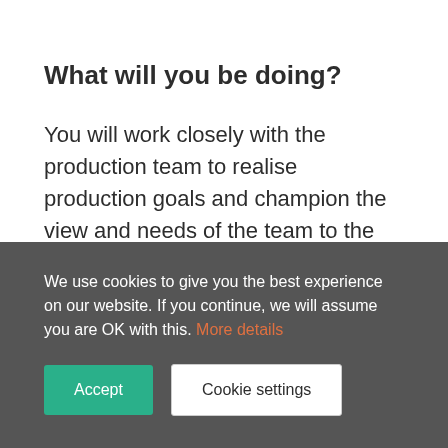What will you be doing?
You will work closely with the production team to realise production goals and champion the view and needs of the team to the wider company. You are a bridge between the various production disciplines.
We use cookies to give you the best experience on our website. If you continue, we will assume you are OK with this. More details
Accept
Cookie settings